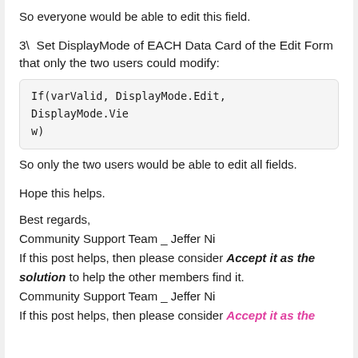So everyone would be able to edit this field.
3\  Set DisplayMode of EACH Data Card of the Edit Form that only the two users could modify:
So only the two users would be able to edit all fields.
Hope this helps.
Best regards,
Community Support Team _ Jeffer Ni
If this post helps, then please consider Accept it as the solution to help the other members find it.
Community Support Team _ Jeffer Ni
If this post helps, then please consider Accept it as the